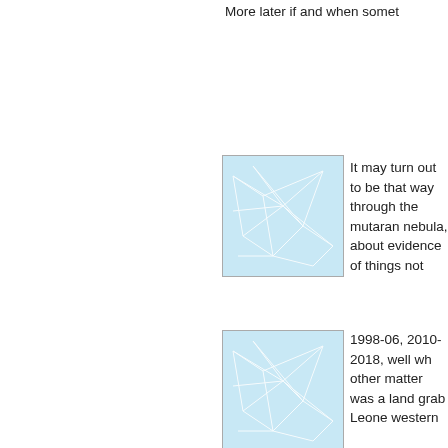More later if and when somet
[Figure (illustration): Light blue network/web pattern thumbnail image]
It may turn out to be that way through the mutaran nebula, about evidence of things not
[Figure (illustration): Light blue network/web pattern thumbnail image]
1998-06, 2010-2018, well wh other matter was a land grab Leone western
[Figure (photo): Photo of a barn owl with wings spread against dark background]
brief exchange

chino
https://www.youtube.com/w